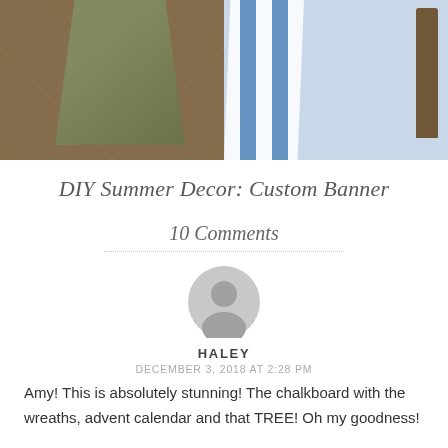[Figure (photo): Top portion of a decorative photo showing wooden panels, chicken wire/mesh, and a striped banner in blue and white. Rustic DIY decor elements visible.]
DIY Summer Decor: Custom Banner
10 Comments
[Figure (illustration): Default user avatar - gray circular icon with silhouette of a person]
HALEY
DECEMBER 3, 2018 AT 2:28 PM
Amy! This is absolutely stunning! The chalkboard with the wreaths, advent calendar and that TREE! Oh my goodness!